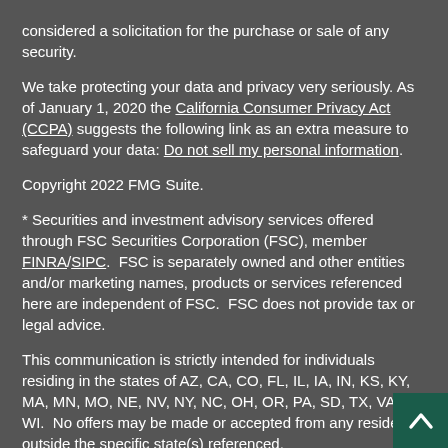considered a solicitation for the purchase or sale of any security.
We take protecting your data and privacy very seriously. As of January 1, 2020 the California Consumer Privacy Act (CCPA) suggests the following link as an extra measure to safeguard your data: Do not sell my personal information.
Copyright 2022 FMG Suite.
* Securities and investment advisory services offered through FSC Securities Corporation (FSC), member FINRA/SIPC.  FSC is separately owned and other entities and/or marketing names, products or services referenced here are independent of FSC.  FSC does not provide tax or legal advice.
This communication is strictly intended for individuals residing in the states of AZ, CA, CO, FL, IL, IA, IN, KS, KY, MA, MN, MO, NE, NV, NY, NC, OH, OR, PA, SD, TX, VA and WI.  No offers may be made or accepted from any resident outside the specific state(s) referenced.